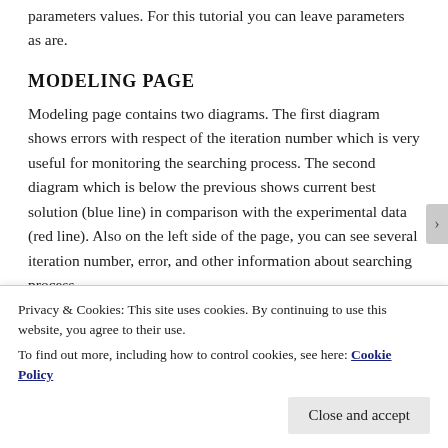parameters values. For this tutorial you can leave parameters as are.
MODELING PAGE
Modeling page contains two diagrams. The first diagram shows errors with respect of the iteration number which is very useful for monitoring the searching process. The second diagram which is below the previous shows current best solution (blue line) in comparison with the experimental data (red line). Also on the left side of the page, you can see several iteration number, error, and other information about searching process.
Privacy & Cookies: This site uses cookies. By continuing to use this website, you agree to their use.
To find out more, including how to control cookies, see here: Cookie Policy